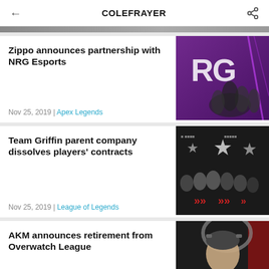COLEFRAYER
Zippo announces partnership with NRG Esports
Nov 25, 2019 | Apex Legends
[Figure (photo): NRG Esports team celebrating, purple background with NRG logo]
Team Griffin parent company dissolves players' contracts
Nov 25, 2019 | League of Legends
[Figure (photo): Team Griffin players posing together with star logo backdrop]
AKM announces retirement from Overwatch League
[Figure (photo): AKM player with headset, partial view]